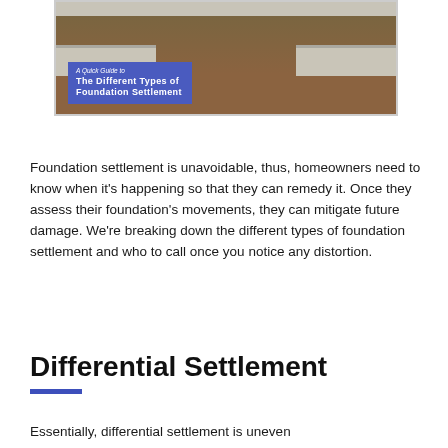[Figure (photo): Header image showing a foundation with concrete blocks and dirt/soil, with a blue overlay banner reading 'A Quick Guide to The Different Types of Foundation Settlement']
Foundation settlement is unavoidable, thus, homeowners need to know when it's happening so that they can remedy it. Once they assess their foundation's movements, they can mitigate future damage. We're breaking down the different types of foundation settlement and who to call once you notice any distortion.
Differential Settlement
Essentially, differential settlement is uneven